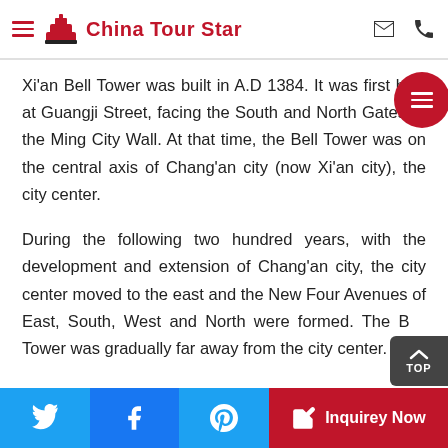China Tour Star
Xi'an Bell Tower was built in A.D 1384. It was first built at Guangji Street, facing the South and North Gates or the Ming City Wall. At that time, the Bell Tower was on the central axis of Chang'an city (now Xi'an city), the city center.
During the following two hundred years, with the development and extension of Chang'an city, the city center moved to the east and the New Four Avenues of East, South, West and North were formed. The Bell Tower was gradually far away from the city center. In
Inquirey Now